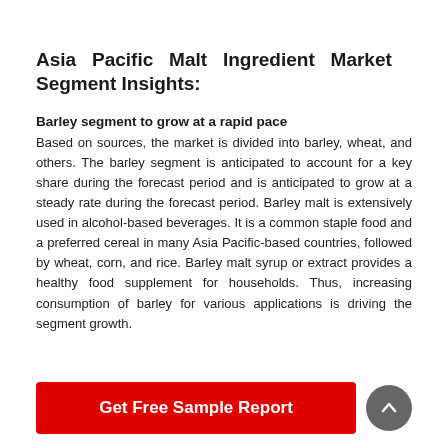Asia Pacific Malt Ingredient Market Segment Insights:
Barley segment to grow at a rapid pace
Based on sources, the market is divided into barley, wheat, and others. The barley segment is anticipated to account for a key share during the forecast period and is anticipated to grow at a steady rate during the forecast period. Barley malt is extensively used in alcohol-based beverages. It is a common staple food and a preferred cereal in many Asia Pacific-based countries, followed by wheat, corn, and rice. Barley malt syrup or extract provides a healthy food supplement for households. Thus, increasing consumption of barley for various applications is driving the segment growth.
Get Free Sample Report